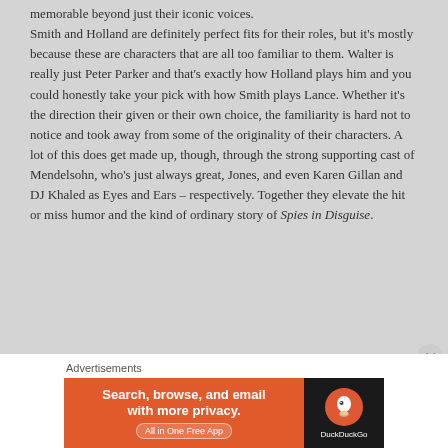memorable beyond just their iconic voices.
Smith and Holland are definitely perfect fits for their roles, but it's mostly because these are characters that are all too familiar to them. Walter is really just Peter Parker and that's exactly how Holland plays him and you could honestly take your pick with how Smith plays Lance. Whether it's the direction their given or their own choice, the familiarity is hard not to notice and took away from some of the originality of their characters. A lot of this does get made up, though, through the strong supporting cast of Mendelsohn, who's just always great, Jones, and even Karen Gillan and DJ Khaled as Eyes and Ears – respectively. Together they elevate the hit or miss humor and the kind of ordinary story of Spies in Disguise.
Advertisements
[Figure (other): DuckDuckGo advertisement banner: orange left panel with text 'Search, browse, and email with more privacy. All in One Free App' and dark right panel with DuckDuckGo logo and name.]